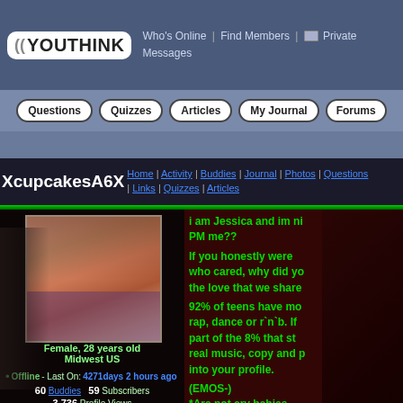YouThink | Who's Online | Find Members | Private Messages
Questions | Quizzes | Articles | My Journal | Forums
XcupcakesA6X | Home | Activity | Buddies | Journal | Photos | Questions | Links | Quizzes | Articles
[Figure (photo): Profile photo of a young woman lying down with reddish-brown hair, wearing a purple top. Dark gothic background with figures.]
Female, 28 years old
Midwest US
Offline - Last On: 4271days 2 hours ago
60 Buddies
59 Subscribers
3,736 Profile Views
i am Jessica and im ni PM me??

If you honestly were who cared, why did yo the love that we share

92% of teens have mo rap, dance or r`n`b. If part of the 8% that st real music, copy and p into your profile.

(EMOS-)
*Are not cry babies